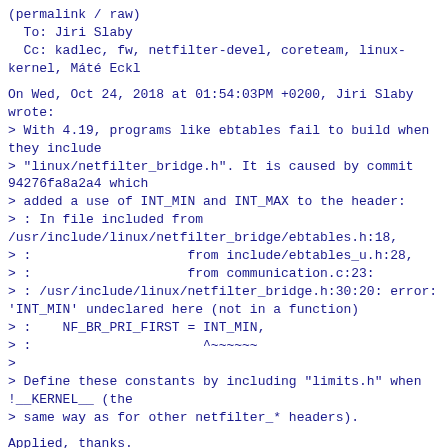(permalink / raw)
  To: Jiri Slaby
  Cc: kadlec, fw, netfilter-devel, coreteam, linux-kernel, Máté Eckl
On Wed, Oct 24, 2018 at 01:54:03PM +0200, Jiri Slaby wrote:
> With 4.19, programs like ebtables fail to build when they include
> "linux/netfilter_bridge.h". It is caused by commit 94276fa8a2a4 which
> added a use of INT_MIN and INT_MAX to the header:
> : In file included from
/usr/include/linux/netfilter_bridge/ebtables.h:18,
> :                    from include/ebtables_u.h:28,
> :                    from communication.c:23:
> : /usr/include/linux/netfilter_bridge.h:30:20: error:
'INT_MIN' undeclared here (not in a function)
> :    NF_BR_PRI_FIRST = INT_MIN,
> :                      ^~~~~~~
>
> Define these constants by including "limits.h" when !__KERNEL__ (the
> same way as for other netfilter_* headers).
Applied, thanks.
^ permalink raw reply    [flat|nested] 3+ messages in thread